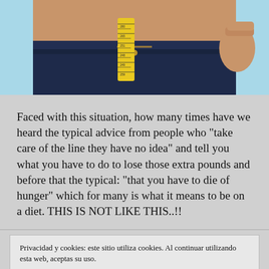[Figure (photo): Close-up photo of a person's midsection wearing dark navy blue shorts, with a yellow measuring tape wrapped around the waist. Light blue background.]
Faced with this situation, how many times have we heard the typical advice from people who “take care of the line they have no idea” and tell you what you have to do to lose those extra pounds and before that the typical: “that you have to die of hunger” which for many is what it means to be on a diet. THIS IS NOT LIKE THIS..!!
Privacidad y cookies: este sitio utiliza cookies. Al continuar utilizando esta web, aceptas su uso.
Para obtener más información, incluido cómo controlar las cookies, consulta aquí:
Política de cookies
Cerrar y aceptar